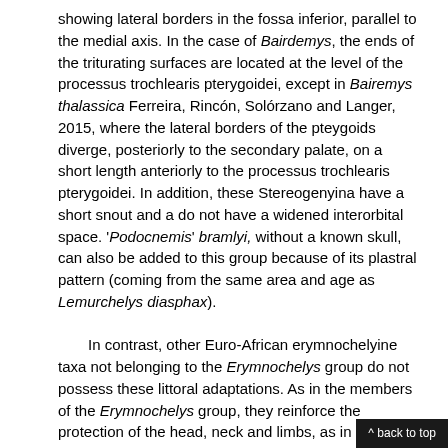showing lateral borders in the fossa inferior, parallel to the medial axis. In the case of Bairdemys, the ends of the triturating surfaces are located at the level of the processus trochlearis pterygoidei, except in Bairemys thalassica Ferreira, Rincón, Solórzano and Langer, 2015, where the lateral borders of the pteygoids diverge, posteriorly to the secondary palate, on a short length anteriorly to the processus trochlearis pterygoidei. In addition, these Stereogenyina have a short snout and a do not have a widened interorbital space. 'Podocnemis' bramlyi, without a known skull, can also be added to this group because of its plastral pattern (coming from the same area and age as Lemurchelys diasphax).
In contrast, other Euro-African erymnochelyine taxa not belonging to the Erymnochelys group do not possess these littoral adaptations. As in the members of the Erymnochelys group, they reinforce the protection of the head, neck and limbs, as in many amphibious continental turtles, by various characters related to elongation of the anterior shell and plastron and the widening of the plastral lobes, gen... narrower axillary and inguinal notches. These taxa...